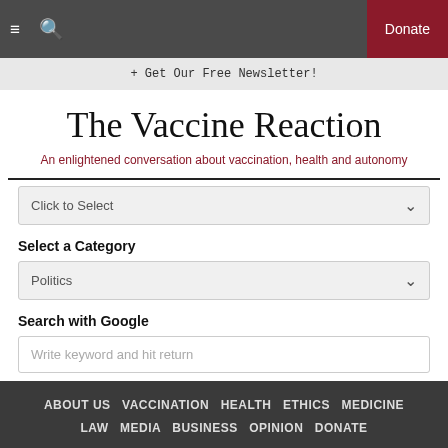Donate
+ Get Our Free Newsletter!
The Vaccine Reaction
An enlightened conversation about vaccination, health and autonomy
Click to Select
Select a Category
Politics
Search with Google
Write keyword and hit return
ABOUT US  VACCINATION  HEALTH  ETHICS  MEDICINE  LAW  MEDIA  BUSINESS  OPINION  DONATE
© 2022 NVIC Legal & Privacy Policy - Sitemap